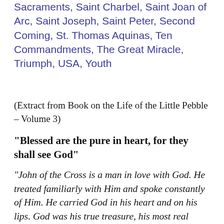Sacraments, Saint Charbel, Saint Joan of Arc, Saint Joseph, Saint Peter, Second Coming, St. Thomas Aquinas, Ten Commandments, The Great Miracle, Triumph, USA, Youth
(Extract from Book on the Life of the Little Pebble – Volume 3)
“Blessed are the pure in heart, for they shall see God”
“John of the Cross is a man in love with God. He treated familiarly with Him and spoke constantly of Him. He carried God in his heart and on his lips. God was his true treasure, his most real world. Even before opening his mouth to proclaim or sing the Divine Mystery, he is God’s witness. That is why he speaks of Him so passionately and so uncommonly convincingly. ‘They pondered that